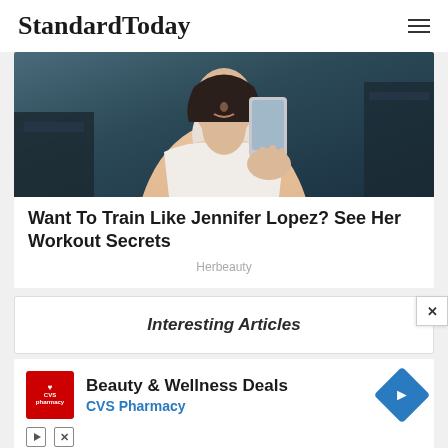StandardToday
[Figure (photo): Woman in white tank top taking a gym mirror selfie with a smartphone]
Want To Train Like Jennifer Lopez? See Her Workout Secrets
Herbeauty
Interesting Articles
[Figure (screenshot): CVS Pharmacy advertisement banner: Beauty & Wellness Deals CVS Pharmacy with navigation icon]